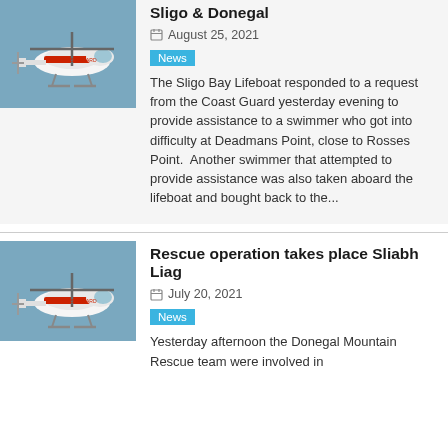Sligo & Donegal
August 25, 2021
News
The Sligo Bay Lifeboat responded to a request from the Coast Guard yesterday evening to provide assistance to a swimmer who got into difficulty at Deadmans Point, close to Rosses Point.  Another swimmer that attempted to provide assistance was also taken aboard the lifeboat and bought back to the...
[Figure (photo): Coast Guard helicopter in flight, red and white livery, against blue sky]
Rescue operation takes place Sliabh Liag
July 20, 2021
News
Yesterday afternoon the Donegal Mountain Rescue team were involved in
[Figure (photo): Coast Guard helicopter in flight, red and white livery, against blue sky]